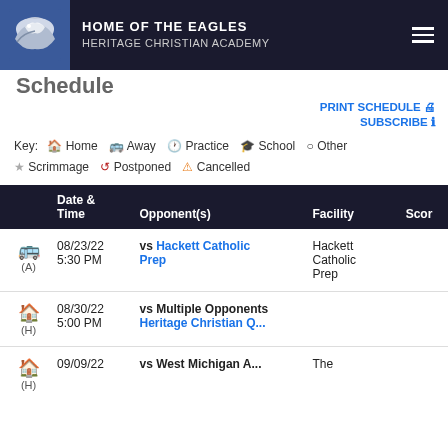HOME OF THE EAGLES HERITAGE CHRISTIAN ACADEMY
Schedule
PRINT SCHEDULE
SUBSCRIBE
Key: Home Away Practice School Other Scrimmage Postponed Cancelled
|  | Date & Time | Opponent(s) | Facility | Score |
| --- | --- | --- | --- | --- |
| (A) | 08/23/22 5:30 PM | vs Hackett Catholic Prep | Hackett Catholic Prep |  |
| (H) | 08/30/22 5:00 PM | vs Multiple Opponents Heritage Christian Q... |  |  |
| (H) | 09/09/22 | vs West Michigan A... | The |  |